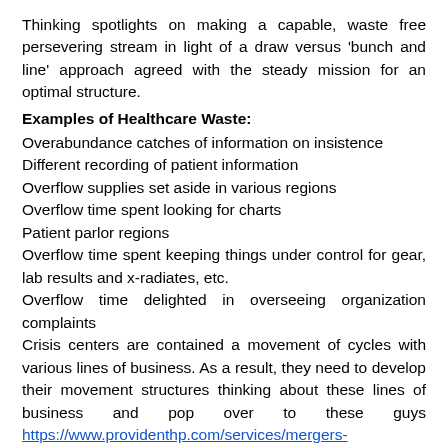Thinking spotlights on making a capable, waste free persevering stream in light of a draw versus 'bunch and line' approach agreed with the steady mission for an optimal structure.
Examples of Healthcare Waste:
Overabundance catches of information on insistence
Different recording of patient information
Overflow supplies set aside in various regions
Overflow time spent looking for charts
Patient parlor regions
Overflow time spent keeping things under control for gear, lab results and x-radiates, etc.
Overflow time delighted in overseeing organization complaints
Crisis centers are contained a movement of cycles with various lines of business. As a result, they need to develop their movement structures thinking about these lines of business and pop over to these guys https://www.providenthp.com/services/mergers-